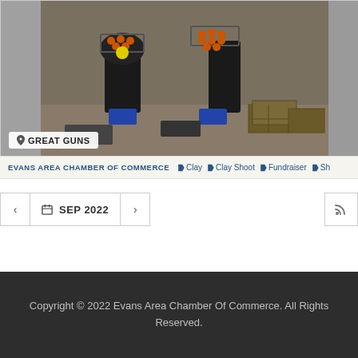[Figure (photo): Photo of clay shooting trap machines loaded with orange clay pigeons, set outdoors on dirt ground with wooden crates. Location badge shows 'GREAT GUNS'.]
EVANS AREA CHAMBER OF COMMERCE  ♦ Clay  ♦ Clay Shoot  ♦ Fundraiser  ♦ Sh...
< SEP 2022 >
Copyright © 2022 Evans Area Chamber Of Commerce. All Rights Reserved.